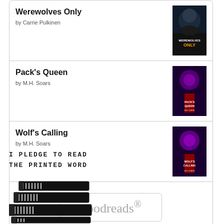Werewolves Only by Carrie Pulkinen
Pack's Queen by M.H. Soars
Wolf's Calling by M.H. Soars
[Figure (logo): Goodreads logo in a rounded rectangle box]
I PLEDGE TO READ THE PRINTED WORD
[Figure (illustration): Stack of books illustration in black and white]